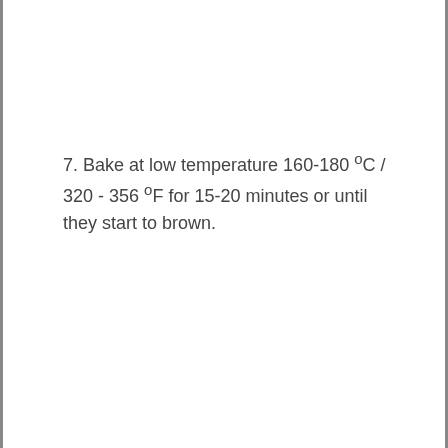7. Bake at low temperature 160-180 ºC / 320 - 356 ºF for 15-20 minutes or until they start to brown.